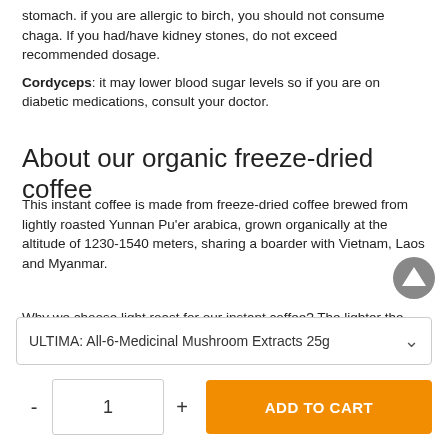stomach. if you are allergic to birch, you should not consume chaga. If you had/have kidney stones, do not exceed recommended dosage.
Cordyceps: it may lower blood sugar levels so if you are on diabetic medications, consult your doctor.
About our organic freeze-dried coffee
This instant coffee is made from freeze-dried coffee brewed from lightly roasted Yunnan Pu'er arabica, grown organically at the altitude of 1230-1540 meters, sharing a boarder with Vietnam, Laos and Myanmar.
Why we choose light roast for our instant coffee? The lighter the roast, the higher the CHLOROGENIC ACID content, and the anti-oxidant, anti-inflammatory benefits.
ULTIMA: All-6-Medicinal Mushroom Extracts 25g
1
ADD TO CART